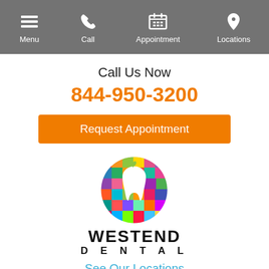Menu | Call | Appointment | Locations
Call Us Now
844-950-3200
Request Appointment
[Figure (logo): West End Dental colorful mosaic circle logo with white tooth shape]
WESTEND DENTAL
See Our Locations
★★★★★